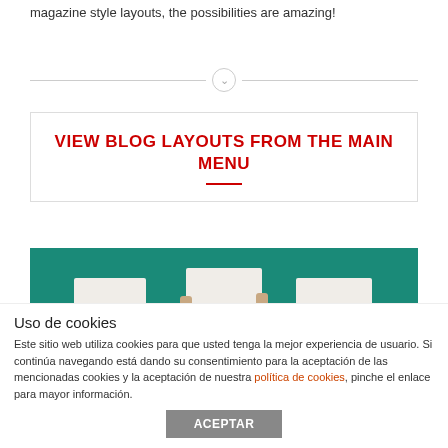magazine style layouts, the possibilities are amazing!
[Figure (other): Horizontal divider with a chevron-down circle icon in the center]
VIEW BLOG LAYOUTS FROM THE MAIN MENU
[Figure (photo): Three people in business attire holding blank white paper sheets in front of their faces against a teal/green background]
Uso de cookies
Este sitio web utiliza cookies para que usted tenga la mejor experiencia de usuario. Si continúa navegando está dando su consentimiento para la aceptación de las mencionadas cookies y la aceptación de nuestra política de cookies, pinche el enlace para mayor información.
ACEPTAR